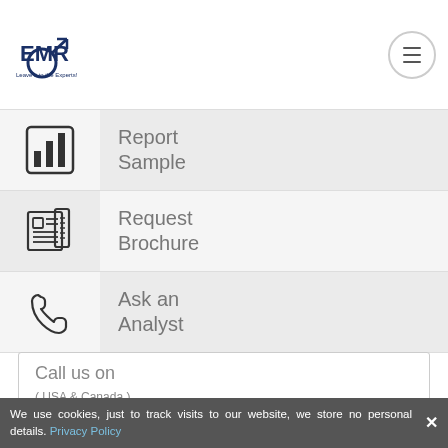EMR – Leave it to the Experts!
Report Sample
Request Brochure
Ask an Analyst
Call us on
( USA & Canada )
+1 415 325 5166
We use cookies, just to track visits to our website, we store no personal details. Privacy Policy ×